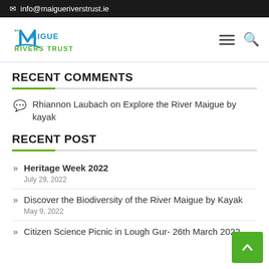✉ info@maigueriverstrust.ie
[Figure (logo): Maigue Rivers Trust logo with stylized M and river illustration in blue and green]
RECENT COMMENTS
Rhiannon Laubach on Explore the River Maigue by kayak
RECENT POST
Heritage Week 2022 — July 29, 2022
Discover the Biodiversity of the River Maigue by Kayak — May 9, 2022
Citizen Science Picnic in Lough Gur- 26th March 2022